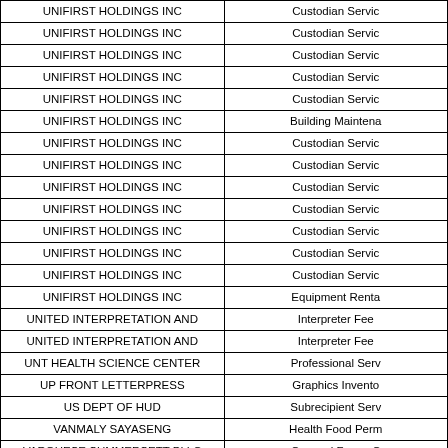| Vendor Name | Category |
| --- | --- |
| UNIFIRST HOLDINGS INC | Custodian Servic |
| UNIFIRST HOLDINGS INC | Custodian Servic |
| UNIFIRST HOLDINGS INC | Custodian Servic |
| UNIFIRST HOLDINGS INC | Custodian Servic |
| UNIFIRST HOLDINGS INC | Custodian Servic |
| UNIFIRST HOLDINGS INC | Building Maintena |
| UNIFIRST HOLDINGS INC | Custodian Servic |
| UNIFIRST HOLDINGS INC | Custodian Servic |
| UNIFIRST HOLDINGS INC | Custodian Servic |
| UNIFIRST HOLDINGS INC | Custodian Servic |
| UNIFIRST HOLDINGS INC | Custodian Servic |
| UNIFIRST HOLDINGS INC | Custodian Servic |
| UNIFIRST HOLDINGS INC | Custodian Servic |
| UNIFIRST HOLDINGS INC | Equipment Renta |
| UNITED INTERPRETATION AND | Interpreter Fee |
| UNITED INTERPRETATION AND | Interpreter Fee |
| UNT HEALTH SCIENCE CENTER | Professional Serv |
| UP FRONT LETTERPRESS | Graphics Invento |
| US DEPT OF HUD | Subrecipient Serv |
| VANMALY SAYASENG | Health Food Perm |
| VARGHESE SUMMERSETT PLLC | Counsel Fees - C |
| VARGHESE SUMMERSETT PLLC | Counsel Fees - C |
| VARGHESE SUMMERSETT PLLC | Counsel Fees - C |